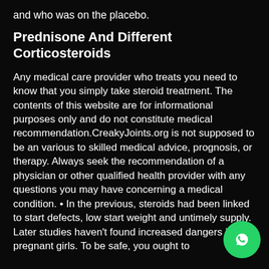and who was on the placebo.
Prednisone And Different Corticosteroids
Any medical care provider who treats you need to know that you simply take steroid treatment. The contents of this website are for informational purposes only and do not constitute medical recommendation.CreakyJoints.org is not supposed to be an various to skilled medical advice, prognosis, or therapy. Always seek the recommendation of a physician or other qualified health provider with any questions you may have concerning a medical condition. • In the previous, steroids had been linked to start defects, low start weight and untimely supply. Later studies haven't found increased dangers in pregnant girls. To be safe, you ought to
[Figure (logo): WhatsApp button icon - green circle with white phone/chat icon]